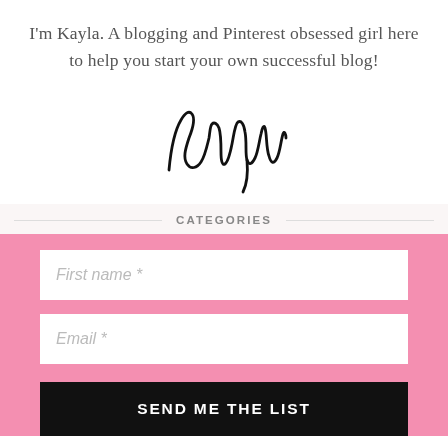I'm Kayla. A blogging and Pinterest obsessed girl here to help you start your own successful blog!
[Figure (illustration): Handwritten cursive signature reading 'kayla' in black ink]
CATEGORIES
First name *
Email *
SEND ME THE LIST